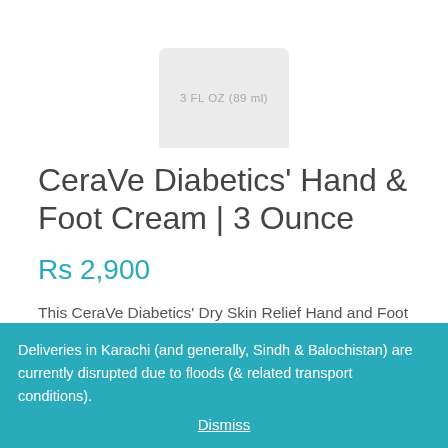[Figure (photo): Partial bottom view of a white cylindrical cream bottle/container with label text '3 FL OZ (89 ml)' visible]
CeraVe Diabetics' Hand & Foot Cream | 3 Ounce
Rs 2,900
This CeraVe Diabetics' Dry Skin Relief Hand and Foot Moisturizing Cream is specially formulated with urea, ceramides and bilberry extracts to hydrate and soothe the rough skins of diabetes sufferers.
Deliveries in Karachi (and generally, Sindh & Balochistan) are currently disrupted due to floods (& related transport conditions).
Dismiss